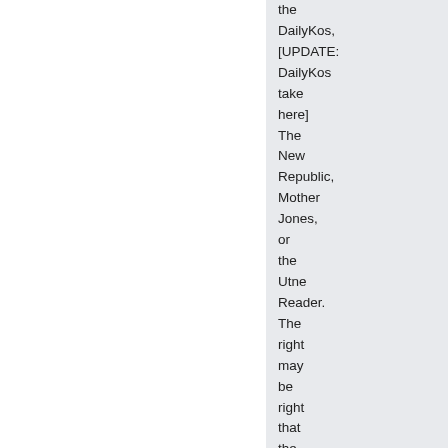the DailyKos, [UPDATE: DailyKos take here] The New Republic, Mother Jones, or the Utne Reader. The right may be right that the media tilts left,